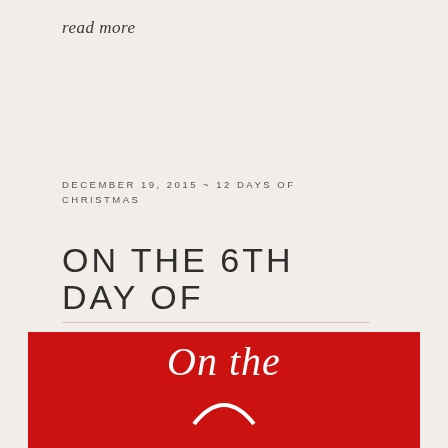read more
DECEMBER 19, 2015 ~ 12 DAYS OF CHRISTMAS
ON THE 6TH DAY OF CHRISTMAS...
[Figure (illustration): Red background image with white cursive text 'On the' visible at top, with partial white arc/symbol below]